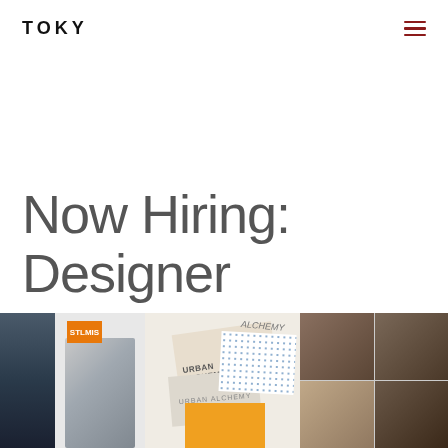TOKY
Now Hiring:
Designer
[Figure (photo): A collage/strip of photos including architectural images, Urban Alchemy branded cards and stationery, portrait paintings of historical figures, and a dark book cover.]